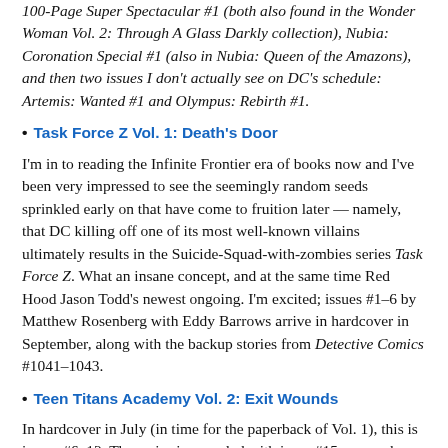100-Page Super Spectacular #1 (both also found in the Wonder Woman Vol. 2: Through A Glass Darkly collection), Nubia: Coronation Special #1 (also in Nubia: Queen of the Amazons), and then two issues I don't actually see on DC's schedule: Artemis: Wanted #1 and Olympus: Rebirth #1.
Task Force Z Vol. 1: Death's Door
I'm in to reading the Infinite Frontier era of books now and I've been very impressed to see the seemingly random seeds sprinkled early on that have come to fruition later — namely, that DC killing off one of its most well-known villains ultimately results in the Suicide-Squad-with-zombies series Task Force Z. What an insane concept, and at the same time Red Hood Jason Todd's newest ongoing. I'm excited; issues #1–6 by Matthew Rosenberg with Eddy Barrows arrive in hardcover in September, along with the backup stories from Detective Comics #1041–1043.
Teen Titans Academy Vol. 2: Exit Wounds
In hardcover in July (in time for the paperback of Vol. 1), this is issues #6–12. The series is canceled with issue #15, so maybe